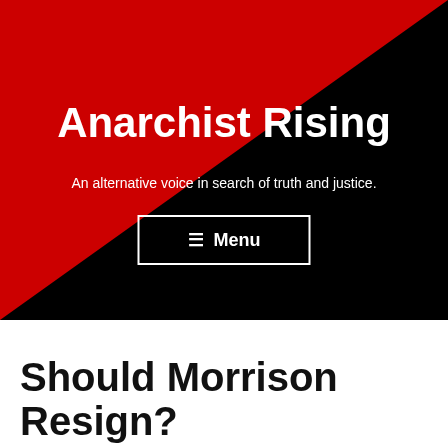[Figure (illustration): Red and black diagonal split background — red upper-left triangle and black lower-right triangle — forming the header banner of the website 'Anarchist Rising'.]
Anarchist Rising
An alternative voice in search of truth and justice.
☰ Menu
Should Morrison Resign?